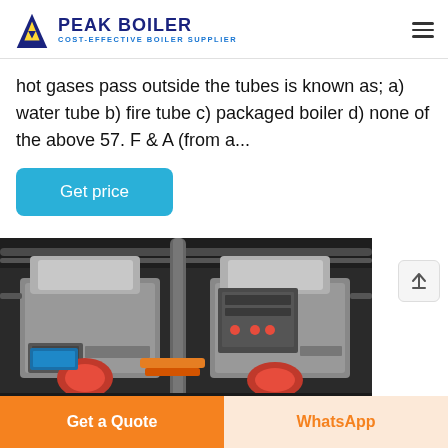PEAK BOILER COST-EFFECTIVE BOILER SUPPLIER
hot gases pass outside the tubes is known as; a) water tube b) fire tube c) packaged boiler d) none of the above 57. F & A (from a...
[Figure (other): Get price button - blue rounded rectangle]
[Figure (photo): Industrial boiler room with two large boilers, steel piping, control panels, and red burner components on the front]
Get a Quote | WhatsApp